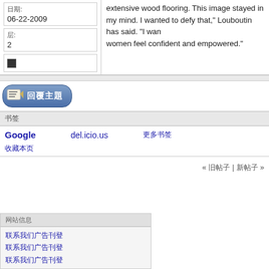extensive wood flooring. This image stayed in my mind. I wanted to defy that," Louboutin has said. "I wanted women feel confident and empowered."
日期: 06-22-2009
层: 2
[Figure (other): Small dark square icon]
[Figure (other): Reply button with icon: 回覆主題]
书签
Google   del.icio.us   更多书签
收藏本页
« 旧帖子 | 新帖子 »
网站信息
联系我们广告刊登
联系我们广告刊登
联系我们广告刊登